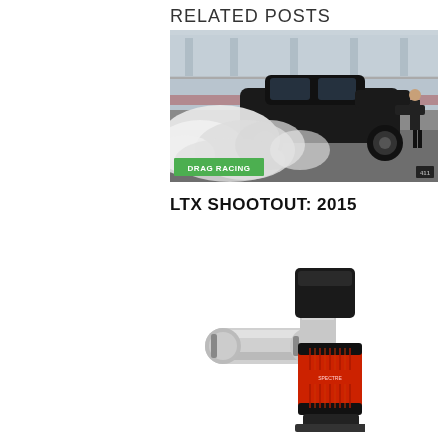RELATED POSTS
[Figure (photo): A black car doing a burnout on a drag racing strip, producing large clouds of white smoke. A person stands to the right watching. Green label overlay reads 'DRAG RACING'. Small logo in bottom right corner.]
LTX SHOOTOUT: 2015
[Figure (photo): A cold air intake kit with a polished silver aluminum pipe and a red/black conical air filter with a black airbox housing, shown on a white background.]